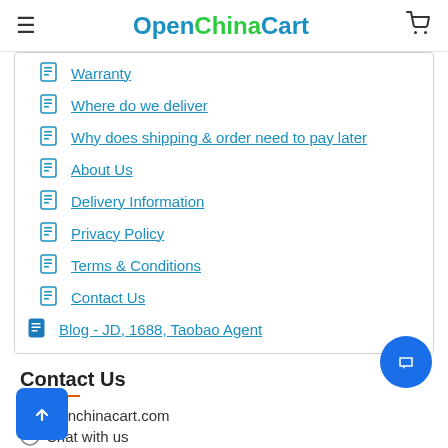OpenChinaCart
Warranty
Where do we deliver
Why does shipping & order need to pay later
About Us
Delivery Information
Privacy Policy
Terms & Conditions
Contact Us
Blog - JD, 1688, Taobao Agent
Contact Us
c@openchinacart.com
Chat with us